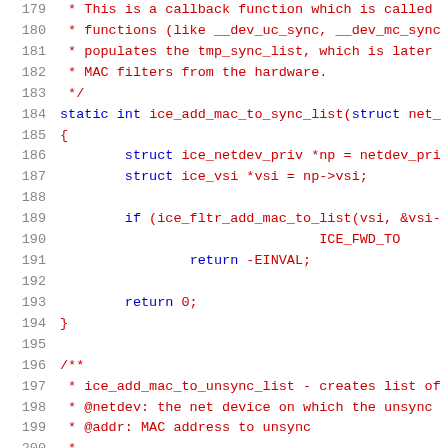Source code listing lines 179-200, showing C code for ice_add_mac_to_sync_list and ice_add_mac_to_unsync_list functions